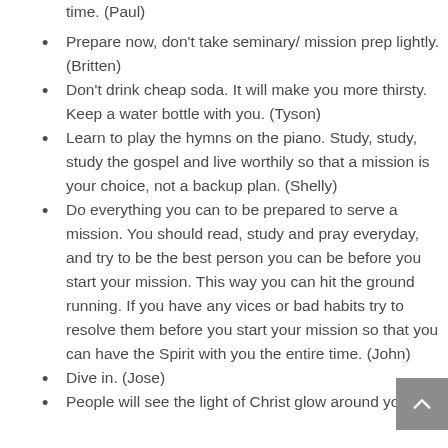time. (Paul)
Prepare now, don't take seminary/ mission prep lightly. (Britten)
Don't drink cheap soda. It will make you more thirsty. Keep a water bottle with you. (Tyson)
Learn to play the hymns on the piano. Study, study, study the gospel and live worthily so that a mission is your choice, not a backup plan. (Shelly)
Do everything you can to be prepared to serve a mission. You should read, study and pray everyday, and try to be the best person you can be before you start your mission. This way you can hit the ground running. If you have any vices or bad habits try to resolve them before you start your mission so that you can have the Spirit with you the entire time. (John)
Dive in. (Jose)
People will see the light of Christ glow around you.